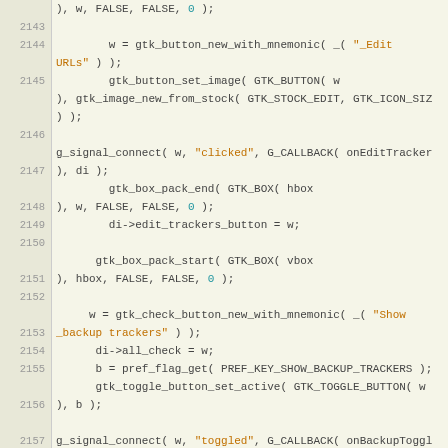[Figure (screenshot): Source code editor view showing C code lines 2143-2163 with syntax highlighting. Line numbers on left, code on right with keywords in bold orange, string literals in orange, numeric literals in teal.]